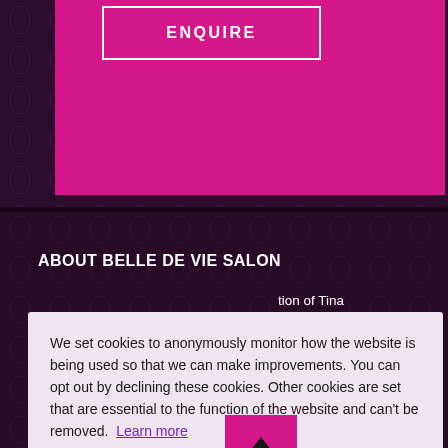[Figure (screenshot): Top pink magenta banner with ENQUIRE button in white border]
ABOUT BELLE DE VIE SALON
Belle De Vie is the highly successful business in...tion of Tina ...tranquil, ...of luxury ...Sparkling ...by our team
We set cookies to anonymously monitor how the website is being used so that we can make improvements. You can opt out by declining these cookies. Other cookies are set that are essential to the function of the website and can't be removed. Learn more
GETTING AROUND